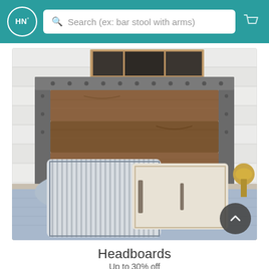HN° | Search (ex: bar stool with arms)
[Figure (photo): A rustic industrial wooden headboard with metal frame and rivets, displayed on a bed with blue and white striped pillows and blue bedding, against a white shiplap wall with a framed artwork above.]
Headboards
Up to 30% off